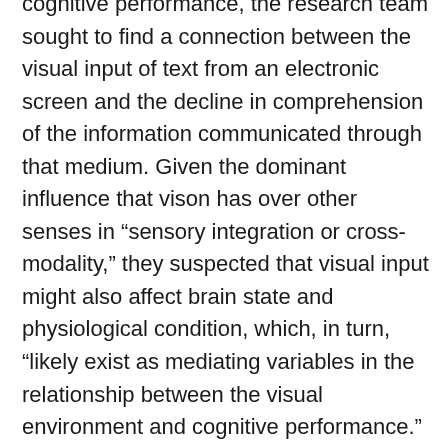cognitive performance, the research team sought to find a connection between the visual input of text from an electronic screen and the decline in comprehension of the information communicated through that medium. Given the dominant influence that vison has over other senses in “sensory integration or cross-modality,” they suspected that visual input might also affect brain state and physiological condition, which, in turn, “likely exist as mediating variables in the relationship between the visual environment and cognitive performance.” The physiological condition they chose to investigate as a potential mediator, along with brain activity, was respiration. To explore the relationship between visual environment, breathing, and cognitive performance, they recruited 34 university students for a study that examined the effects of electronic device use on reading comprehension by simultaneously measuring brain and respiratory activity